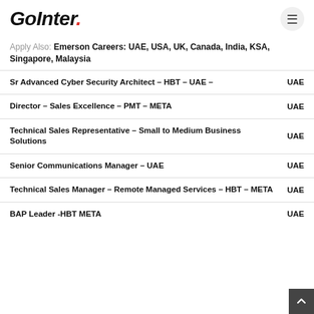GoInter.
Apply Also: Emerson Careers: UAE, USA, UK, Canada, India, KSA, Singapore, Malaysia
Sr Advanced Cyber Security Architect – HBT – UAE –  UAE
Director – Sales Excellence – PMT – META  UAE
Technical Sales Representative – Small to Medium Business Solutions  UAE
Senior Communications Manager – UAE  UAE
Technical Sales Manager – Remote Managed Services – HBT – META  UAE
BAP Leader -HBT META  UAE